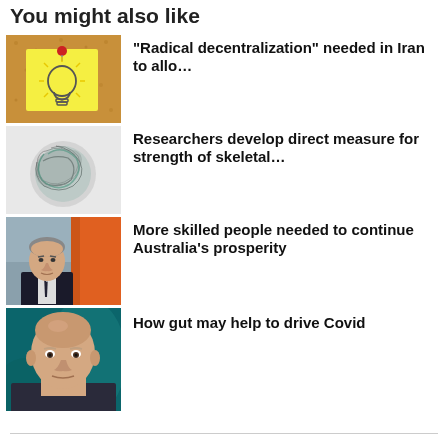You might also like
“Radical decentralization” needed in Iran to allo…
Researchers develop direct measure for strength of skeletal…
More skilled people needed to continue Australia’s prosperity
How gut may help to drive Covid